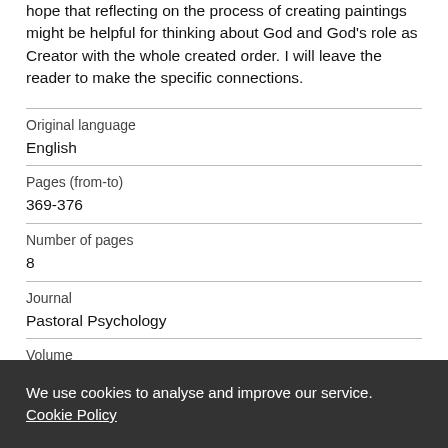hope that reflecting on the process of creating paintings might be helpful for thinking about God and God's role as Creator with the whole created order. I will leave the reader to make the specific connections.
| Original language | English |
| Pages (from-to) | 369-376 |
| Number of pages | 8 |
| Journal | Pastoral Psychology |
| Volume |  |
We use cookies to analyse and improve our service. Cookie Policy